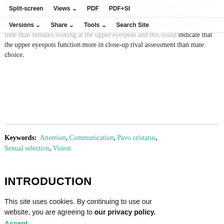Split-screen  Views  PDF  PDF+SI  Versions  Share  Tools  Search Site
The gaze patterns of males assessing rivals were largely similar to those of females evaluating mates, suggesting that some male traits serve a dual function in both intra- and intersexual selection. However, males spent more time than females looking at the upper eyespots and this could indicate that the upper eyespots function more in close-up rival assessment than mate choice.
Keywords:  Attention, Communication, Pavo cristatus, Sexual selection, Vision
INTRODUCTION
Sexual selection operates through both female mate choice (intersexual selection) and male–male competition (intrasexual selection; Darwin, 1871; Andersson, 1994). Both rival males and female mates may be interested in
This site uses cookies. By continuing to use our website, you are agreeing to our privacy policy. Accept